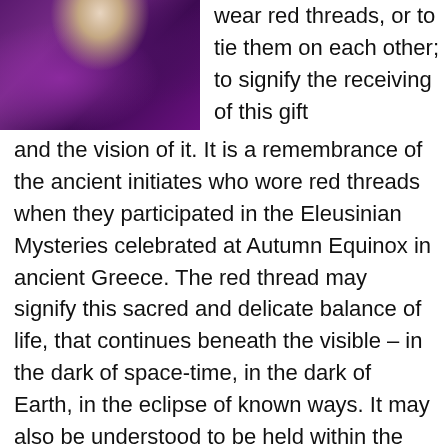[Figure (photo): Photo of a figure wearing purple/violet fabric or clothing with what appears to be a white element at the top, draped in rich purple folds.]
wear red threads, or to tie them on each other; to signify the receiving of this gift and the vision of it. It is a remembrance of the ancient initiates who wore red threads when they participated in the Eleusinian Mysteries celebrated at Autumn Equinox in ancient Greece. The red thread may signify this sacred and delicate balance of life, that continues beneath the visible – in the dark of space-time, in the dark of Earth, in the eclipse of known ways. It may also be understood to be held within the Seed – any Seed; and it is not just a promise of life, it is the life that is present; it is simply below the visible.
And the Spring Equinox celebrates its amazing emergence, as green life empowered by the stronger light